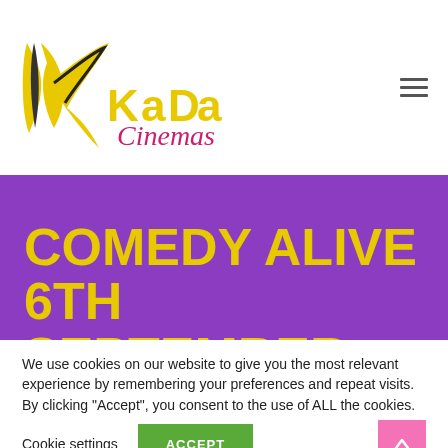KADA Cinemas
COMEDY ALIVE 6TH SEPTEMBER 2014
We use cookies on our website to give you the most relevant experience by remembering your preferences and repeat visits. By clicking “Accept”, you consent to the use of ALL the cookies.
Cookie settings | ACCEPT